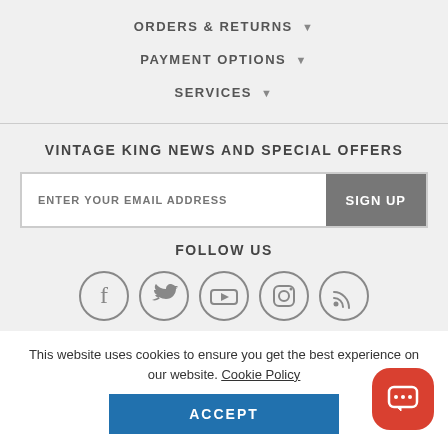ORDERS & RETURNS ▼
PAYMENT OPTIONS ▼
SERVICES ▼
VINTAGE KING NEWS AND SPECIAL OFFERS
ENTER YOUR EMAIL ADDRESS  SIGN UP
FOLLOW US
[Figure (illustration): Five circular social media icons: Facebook, Twitter, YouTube, Instagram, RSS]
This website uses cookies to ensure you get the best experience on our website. Cookie Policy
ACCEPT